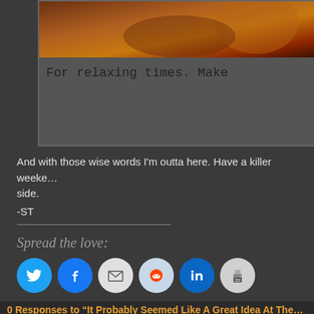[Figure (photo): Partial view of a movie/promotional card with a dark reddish-brown image at top and text 'For relaxing times. Make' below on white background]
And with those wise words Iâ€™m outta here. Have a killer weeke… side.
-ST
Spread the love:
[Figure (infographic): Row of social sharing icon buttons: Twitter (blue bird), Facebook (blue f), Email (envelope), Reddit (alien), LinkedIn (in), Print (printer)]
0 Responses to “It Probably Seemed Like A Great Idea At The…”
Feed for this Entry   Trackback Address